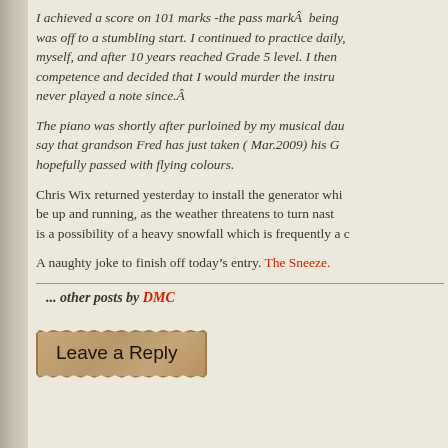I achieved a score on 101 marks -the pass markÂ  being was off to a stumbling start. I continued to practice daily, myself, and after 10 years reached Grade 5 level. I then competence and decided that I would murder the instru never played a note since.Â
The piano was shortly after purloined by my musical dau say that grandson Fred has just taken ( Mar.2009) his G hopefully passed with flying colours.
Chris Wix returned yesterday to install the generator whi be up and running, as the weather threatens to turn nast is a possibility of a heavy snowfall which is frequently a c
A naughty joke to finish off today’s entry. The Sneeze.
... other posts by DMC
[Figure (other): Leave a Reply banner with torn/ragged paper texture styling]